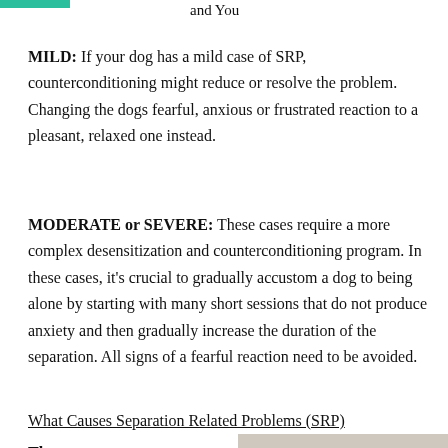and You
MILD: If your dog has a mild case of SRP, counterconditioning might reduce or resolve the problem. Changing the dogs fearful, anxious or frustrated reaction to a pleasant, relaxed one instead.
MODERATE or SEVERE: These cases require a more complex desensitization and counterconditioning program. In these cases, it's crucial to gradually accustom a dog to being alone by starting with many short sessions that do not produce anxiety and then gradually increase the duration of the separation. All signs of a fearful reaction need to be avoided.
What Causes Separation Related Problems (SRP)
[Figure (photo): Partial photo visible at bottom right of page]
The...